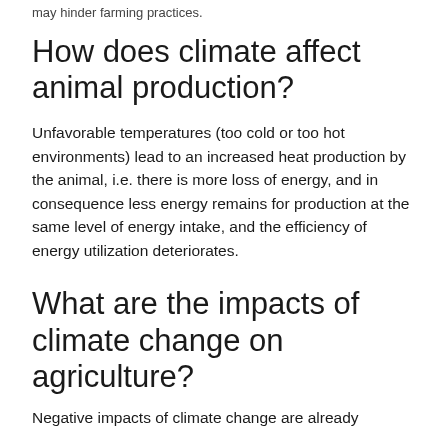may hinder farming practices.
How does climate affect animal production?
Unfavorable temperatures (too cold or too hot environments) lead to an increased heat production by the animal, i.e. there is more loss of energy, and in consequence less energy remains for production at the same level of energy intake, and the efficiency of energy utilization deteriorates.
What are the impacts of climate change on agriculture?
Negative impacts of climate change are already...